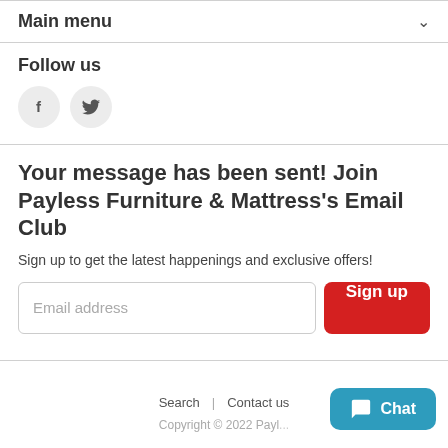Main menu
Follow us
[Figure (illustration): Facebook and Twitter social media icons as grey circles with 'f' and bird logos]
Your message has been sent! Join Payless Furniture & Mattress's Email Club
Sign up to get the latest happenings and exclusive offers!
Email address [input field] Sign up [button]
Search | Contact us
Copyright © 2022 Payl...